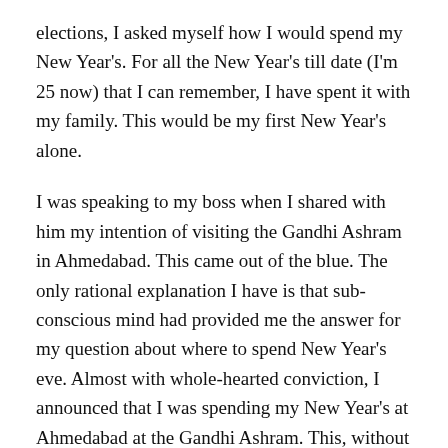elections, I asked myself how I would spend my New Year's. For all the New Year's till date (I'm 25 now) that I can remember, I have spent it with my family. This would be my first New Year's alone.
I was speaking to my boss when I shared with him my intention of visiting the Gandhi Ashram in Ahmedabad. This came out of the blue. The only rational explanation I have is that sub-conscious mind had provided me the answer for my question about where to spend New Year's eve. Almost with whole-hearted conviction, I announced that I was spending my New Year's at Ahmedabad at the Gandhi Ashram. This, without knowing where exactly it is, not knowing how to get there, not knowing if I will get tickets. In short, without answering any of the “practical” questions that arise when one suggests a trip.